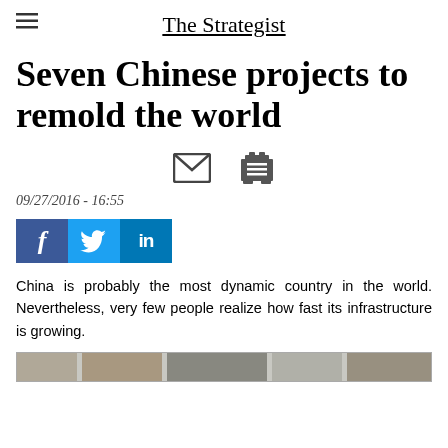The Strategist
Seven Chinese projects to remold the world
09/27/2016 - 16:55
[Figure (illustration): Email and print icons for sharing the article]
[Figure (illustration): Social media share buttons: Facebook (f), Twitter (bird), LinkedIn (in)]
China is probably the most dynamic country in the world. Nevertheless, very few people realize how fast its infrastructure is growing.
[Figure (photo): Partial photo strip at bottom of page, showing a scene related to Chinese infrastructure]